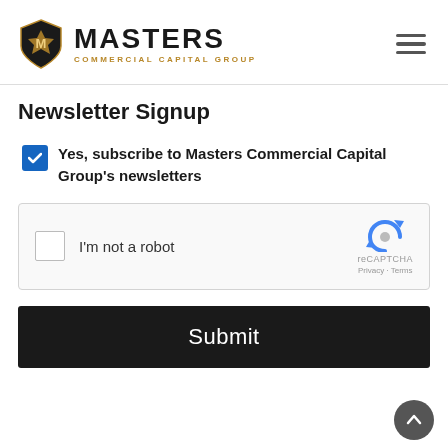[Figure (logo): Masters Commercial Capital Group logo with shield emblem and hamburger menu icon]
Newsletter Signup
Yes, subscribe to Masters Commercial Capital Group's newsletters
[Figure (screenshot): reCAPTCHA widget with checkbox labeled I'm not a robot]
Submit